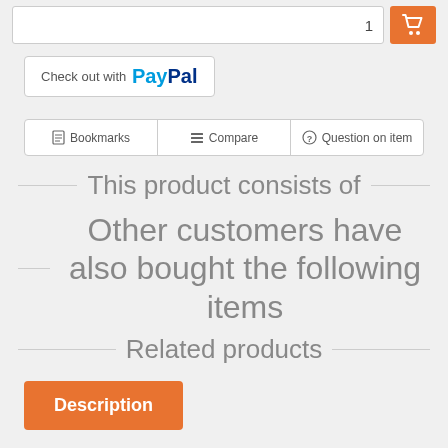[Figure (screenshot): Quantity input field with value 1 and orange shopping cart button]
[Figure (screenshot): Check out with PayPal button]
[Figure (screenshot): Action buttons row: Bookmarks, Compare, Question on item]
This product consists of
Other customers have also bought the following items
Related products
[Figure (screenshot): Orange Description tab button]